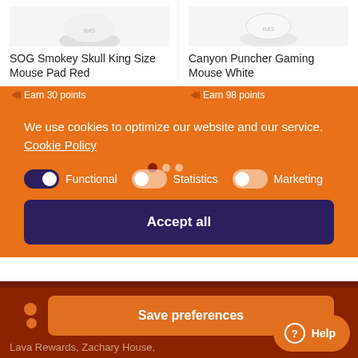SOG Smokey Skull King Size Mouse Pad Red
€14.90 inc. Vat
Canyon Puncher Gaming Mouse White
€59.00 €49.00 inc. Vat
Earn 30 points
Earn 98 points
We use cookies to optimize our website and our service. Cookie Policy
Functional
Statistics
Marketing
Accept all
Save preferences
Lava Rewards, Zachary House,
Marsa Industrial Estate
Help